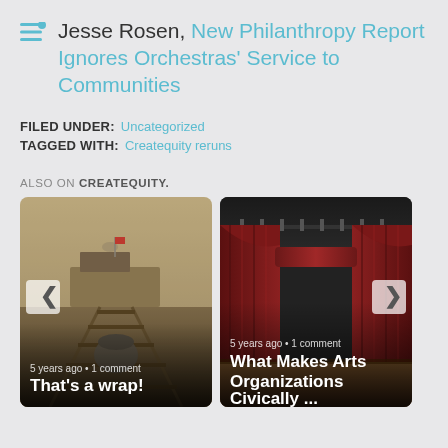Jesse Rosen, New Philanthropy Report Ignores Orchestras' Service to Communities
FILED UNDER: Uncategorized
TAGGED WITH: Createquity reruns
ALSO ON CREATEQUITY.
[Figure (photo): Card showing a black and white photo of railway tracks with a train/ferry in background. Caption reads: 5 years ago • 1 comment / That's a wrap!]
[Figure (photo): Card showing a red theatre curtain stage. Caption reads: 5 years ago • 1 comment / What Makes Arts Organizations Civically ...]